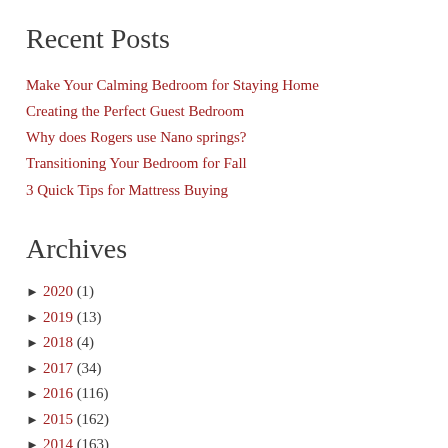Recent Posts
Make Your Calming Bedroom for Staying Home
Creating the Perfect Guest Bedroom
Why does Rogers use Nano springs?
Transitioning Your Bedroom for Fall
3 Quick Tips for Mattress Buying
Archives
► 2020 (1)
► 2019 (13)
► 2018 (4)
► 2017 (34)
► 2016 (116)
► 2015 (162)
► 2014 (163)
► 2013 (203)